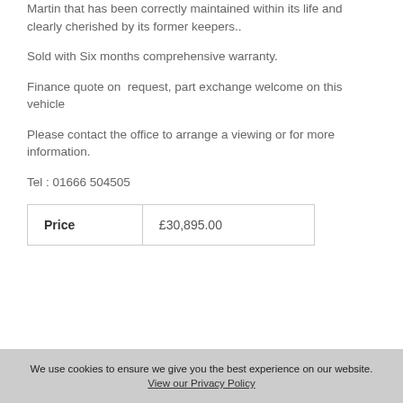Martin that has been correctly maintained within its life and clearly cherished by its former keepers..
Sold with Six months comprehensive warranty.
Finance quote on request, part exchange welcome on this vehicle
Please contact the office to arrange a viewing or for more information.
Tel : 01666 504505
| Price | £30,895.00 |
| --- | --- |
We use cookies to ensure we give you the best experience on our website. View our Privacy Policy